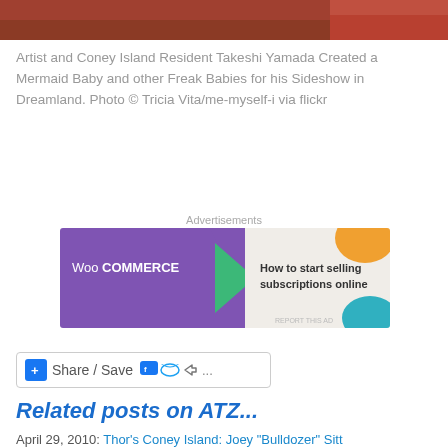[Figure (photo): Top portion of a photo showing a reddish-brown surface, partially cropped]
Artist and Coney Island Resident Takeshi Yamada Created a Mermaid Baby and other Freak Babies for his Sideshow in Dreamland. Photo © Tricia Vita/me-myself-i via flickr
[Figure (screenshot): WooCommerce advertisement: 'How to start selling subscriptions online']
[Figure (screenshot): Share / Save social sharing button bar with Facebook, Twitter and share icons]
Related posts on ATZ...
April 29, 2010: Thor's Coney Island: Joey "Bulldozer" Sitt
[Figure (screenshot): DuckDuckGo advertisement: 'Search, browse, and email with more privacy. All in One Free App']